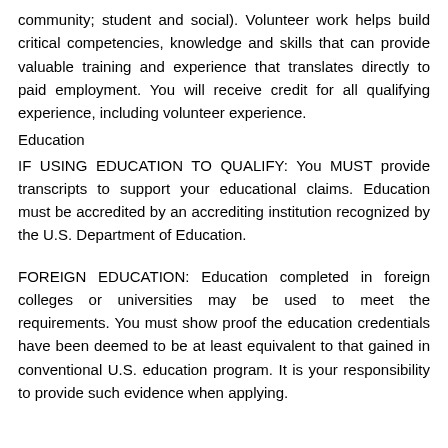community; student and social). Volunteer work helps build critical competencies, knowledge and skills that can provide valuable training and experience that translates directly to paid employment. You will receive credit for all qualifying experience, including volunteer experience.
Education
IF USING EDUCATION TO QUALIFY: You MUST provide transcripts to support your educational claims. Education must be accredited by an accrediting institution recognized by the U.S. Department of Education.
FOREIGN EDUCATION: Education completed in foreign colleges or universities may be used to meet the requirements. You must show proof the education credentials have been deemed to be at least equivalent to that gained in conventional U.S. education program. It is your responsibility to provide such evidence when applying.